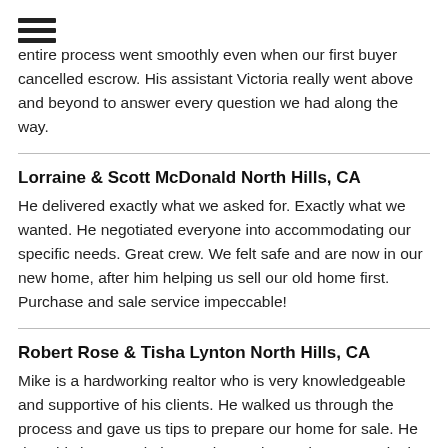[Figure (other): Hamburger menu icon (three horizontal lines)]
entire process went smoothly even when our first buyer cancelled escrow. His assistant Victoria really went above and beyond to answer every question we had along the way.
Lorraine & Scott McDonald North Hills, CA
He delivered exactly what we asked for. Exactly what we wanted. He negotiated everyone into accommodating our specific needs. Great crew. We felt safe and are now in our new home, after him helping us sell our old home first. Purchase and sale service impeccable!
Robert Rose & Tisha Lynton North Hills, CA
Mike is a hardworking realtor who is very knowledgeable and supportive of his clients. He walked us through the process and gave us tips to prepare our home for sale. He does his homework, knows the market and was on point in our listing. He's available for questions and responds timely and honestly. We highly recommend